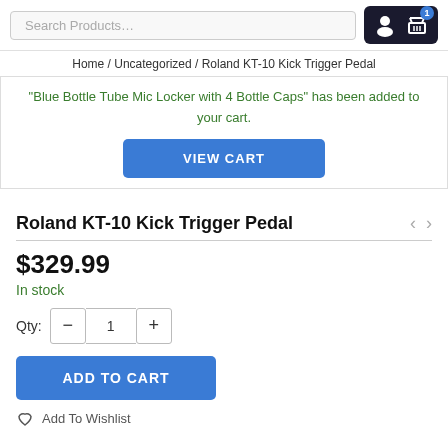Search Products... [icons: user, cart with badge 1]
Home / Uncategorized / Roland KT-10 Kick Trigger Pedal
"Blue Bottle Tube Mic Locker with 4 Bottle Caps" has been added to your cart.
VIEW CART
Roland KT-10 Kick Trigger Pedal
$329.99
In stock
Qty: - 1 +
ADD TO CART
Add To Wishlist